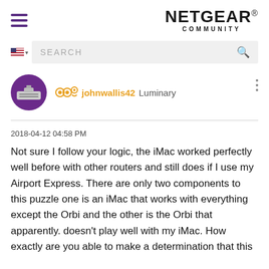[Figure (logo): NETGEAR COMMUNITY logo with hamburger menu icon]
[Figure (screenshot): Search bar with US flag icon and magnifying glass]
johnwallis42 Luminary
2018-04-12 04:58 PM
Not sure I follow your logic, the iMac worked perfectly well before with other routers and still does if I use my Airport Express. There are only two components to this puzzle one is an iMac that works with everything except the Orbi and the other is the Orbi that apparently. doesn't play well with my iMac. How exactly are you able to make a determination that this